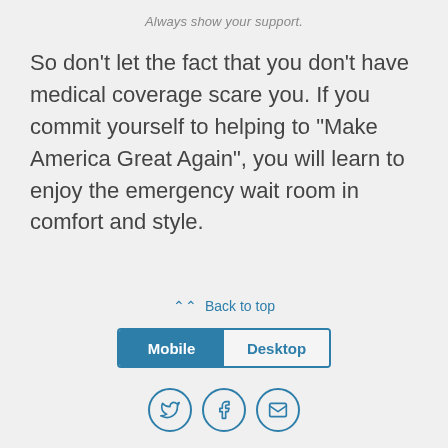Always show your support.
So don’t let the fact that you don’t have medical coverage scare you. If you commit yourself to helping to “Make America Great Again”, you will learn to enjoy the emergency wait room in comfort and style.
Back to top
[Figure (infographic): Toggle bar with Mobile (selected, blue background) and Desktop (unselected, white background) options]
[Figure (infographic): Three circular social sharing icons: Twitter bird, Facebook f, and envelope/email]